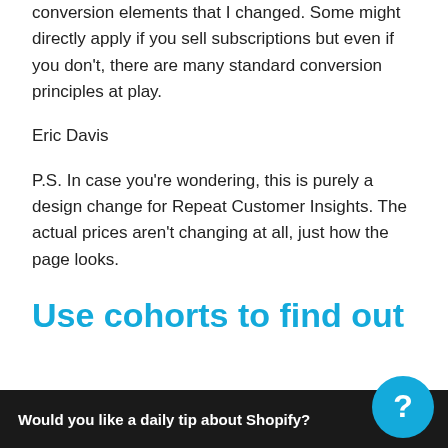conversion elements that I changed. Some might directly apply if you sell subscriptions but even if you don't, there are many standard conversion principles at play.
Eric Davis
P.S. In case you're wondering, this is purely a design change for Repeat Customer Insights. The actual prices aren't changing at all, just how the page looks.
Use cohorts to find out
Would you like a daily tip about Shopify?